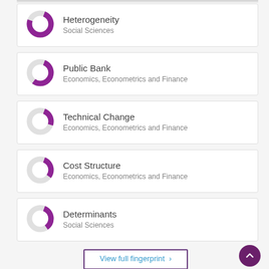[Figure (donut-chart): Donut chart for Heterogeneity, mostly filled purple arc (~75%)]
Heterogeneity
Social Sciences
[Figure (donut-chart): Donut chart for Public Bank, about half filled purple (~55%)]
Public Bank
Economics, Econometrics and Finance
[Figure (donut-chart): Donut chart for Technical Change, small purple arc (~25%)]
Technical Change
Economics, Econometrics and Finance
[Figure (donut-chart): Donut chart for Cost Structure, small purple arc (~30%)]
Cost Structure
Economics, Econometrics and Finance
[Figure (donut-chart): Donut chart for Determinants, small purple arc (~35%)]
Determinants
Social Sciences
View full fingerprint ›